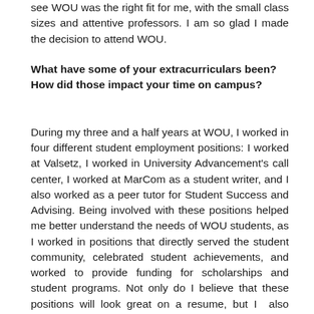see WOU was the right fit for me, with the small class sizes and attentive professors. I am so glad I made the decision to attend WOU.
What have some of your extracurriculars been? How did those impact your time on campus?
During my three and a half years at WOU, I worked in four different student employment positions: I worked at Valsetz, I worked in University Advancement's call center, I worked at MarCom as a student writer, and I also worked as a peer tutor for Student Success and Advising. Being involved with these positions helped me better understand the needs of WOU students, as I worked in positions that directly served the student community, celebrated student achievements, and worked to provide funding for scholarships and student programs. Not only do I believe that these positions will look great on a resume, but I  also found a community of phenomenal supervisors and coworkers who I am certain will help me achieve my goals in the coming future.